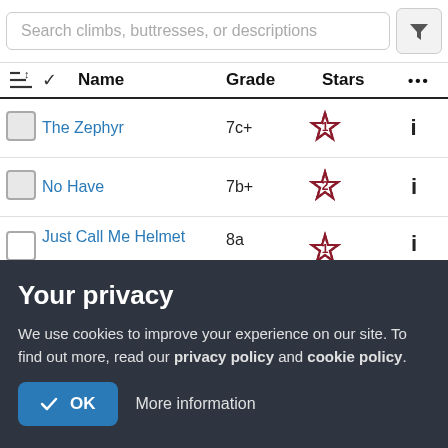Search climbs, buttresses, or descriptions
|  | Name | Grade | Stars | ... |
| --- | --- | --- | --- | --- |
| ☐ | The Zephyr | 7c+ | 1 star | i |
| ☐ | No Have | 7b+ | 2 stars | i |
| ☐ | Just Call Me Helmet | 8a | 1 star | i |
| ☐ | Blind, Deaf, and Dumb | 7b+ | 2 stars | i |
Your privacy
We use cookies to improve your experience on our site. To find out more, read our privacy policy and cookie policy.
✓ OK
More information